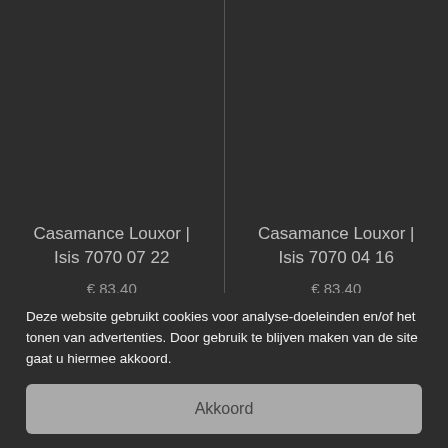Casamance Louxor | Isis 7070 07 22
€ 83,40
In winkelwagen
Casamance Louxor | Isis 7070 04 16
€ 83,40
In winkelwagen
Deze website gebruikt cookies voor analyse-doeleinden en/of het tonen van advertenties. Door gebruik te blijven maken van de site gaat u hiermee akkoord.
Akkoord